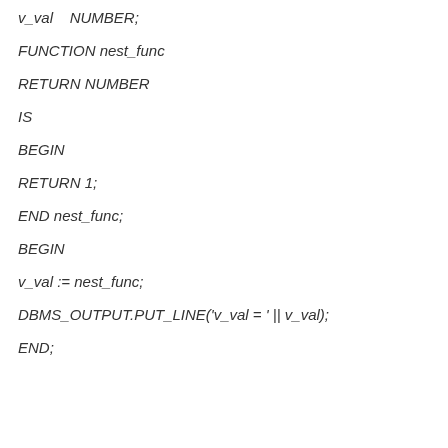v_val    NUMBER;
FUNCTION nest_func
RETURN NUMBER
IS
BEGIN
RETURN 1;
END nest_func;
BEGIN
v_val := nest_func;
DBMS_OUTPUT.PUT_LINE('v_val = ' || v_val);
END;